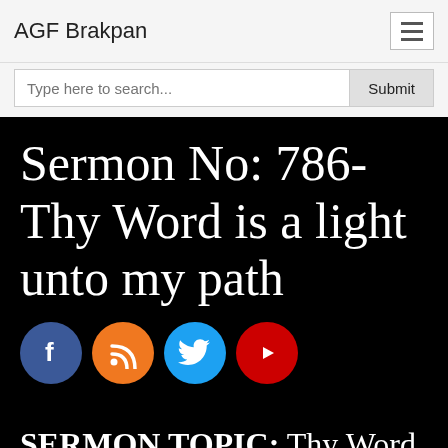AGF Brakpan
Sermon No: 786- Thy Word is a light unto my path
[Figure (illustration): Social media icons row: Facebook (blue circle with f), RSS (orange circle with wifi/RSS icon), Twitter (light blue circle with bird icon), YouTube (red circle with play button)]
SERMON TOPIC: Thy Word is a light unto my path